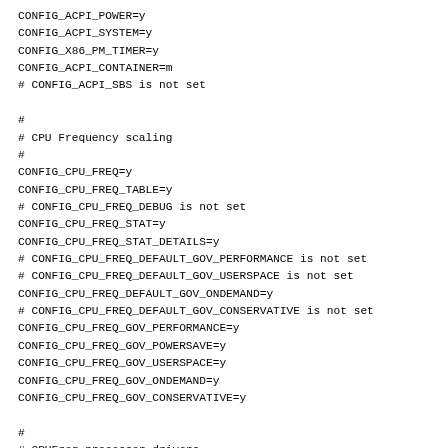CONFIG_ACPI_POWER=y
CONFIG_ACPI_SYSTEM=y
CONFIG_X86_PM_TIMER=y
CONFIG_ACPI_CONTAINER=m
# CONFIG_ACPI_SBS is not set

#
# CPU Frequency scaling
#
CONFIG_CPU_FREQ=y
CONFIG_CPU_FREQ_TABLE=y
# CONFIG_CPU_FREQ_DEBUG is not set
CONFIG_CPU_FREQ_STAT=y
CONFIG_CPU_FREQ_STAT_DETAILS=y
# CONFIG_CPU_FREQ_DEFAULT_GOV_PERFORMANCE is not set
# CONFIG_CPU_FREQ_DEFAULT_GOV_USERSPACE is not set
CONFIG_CPU_FREQ_DEFAULT_GOV_ONDEMAND=y
# CONFIG_CPU_FREQ_DEFAULT_GOV_CONSERVATIVE is not set
CONFIG_CPU_FREQ_GOV_PERFORMANCE=y
CONFIG_CPU_FREQ_GOV_POWERSAVE=y
CONFIG_CPU_FREQ_GOV_USERSPACE=y
CONFIG_CPU_FREQ_GOV_ONDEMAND=y
CONFIG_CPU_FREQ_GOV_CONSERVATIVE=y

#
# CPUFreq processor drivers
#
CONFIG_X86_ACPI_CPUFREQ=m
# CONFIG_X86_POWERNOW_K8 is not set
# CONFIG_X86_SPEEDSTEP_CENTRINO is not set